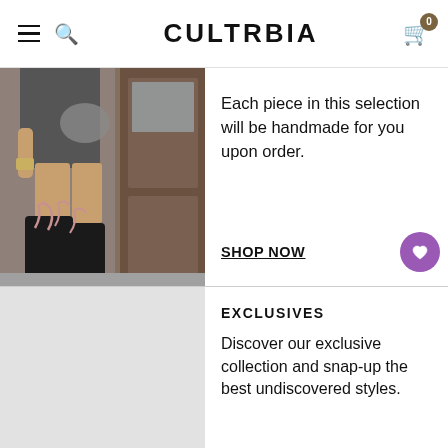CULTMIA — navigation bar with hamburger menu, search icon, brand logo, cart with badge 0
[Figure (photo): Person's legs wearing tall black cowboy boots with pink/mauve decorative stitching pattern, standing near a wooden door]
Each piece in this selection will be handmade for you upon order.
SHOP NOW
EXCLUSIVES
Discover our exclusive collection and snap-up the best undiscovered styles.